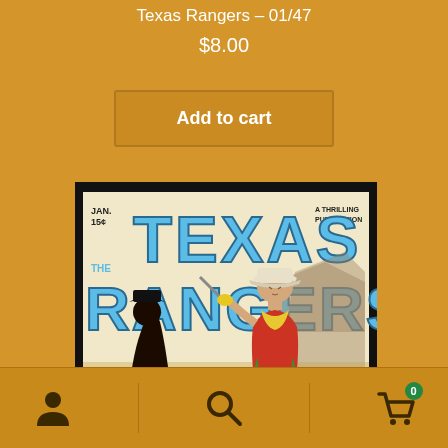Texas Rangers – 01/47
$8.00
Add to cart
[Figure (photo): Cover of Texas Rangers pulp magazine, January issue, 15 cents. Shows bold blue text 'TEXAS RANGERS' with a cowboy in a red shirt and white hat wielding a weapon, and a dark figure in the foreground. Labeled 'A Thrilling Publication'.]
[Figure (other): Bottom navigation bar with person/account icon, search icon, and shopping cart icon with badge showing 0]